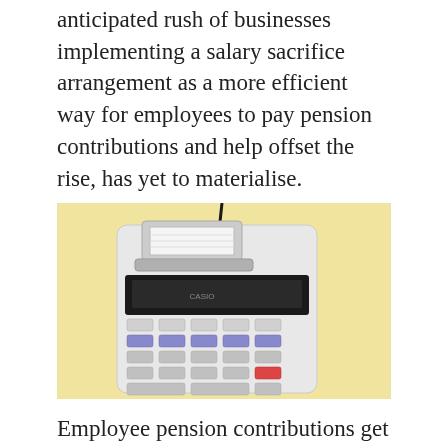anticipated rush of businesses implementing a salary sacrifice arrangement as a more efficient way for employees to pay pension contributions and help offset the rise, has yet to materialise.
[Figure (photo): A printing calculator with paper roll on a pale yellow background, viewed from above.]
Employee pension contributions get tax relief however both employees and employers pay